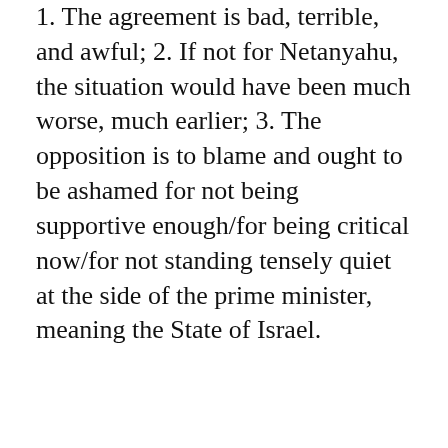1. The agreement is bad, terrible, and awful; 2. If not for Netanyahu, the situation would have been much worse, much earlier; 3. The opposition is to blame and ought to be ashamed for not being supportive enough/for being critical now/for not standing tensely quiet at the side of the prime minister, meaning the State of Israel.
- Advertisment -
Obviously. The opposition is to blame for the
[Figure (screenshot): Social sharing toolbar with Twitter, Facebook, menu button, bookmark, and mail icons]
[Figure (screenshot): Petco advertisement banner with in-store shopping and curbside pickup text]